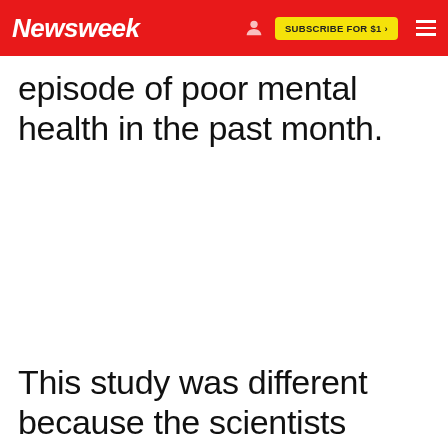Newsweek
episode of poor mental health in the past month.
This study was different because the scientists